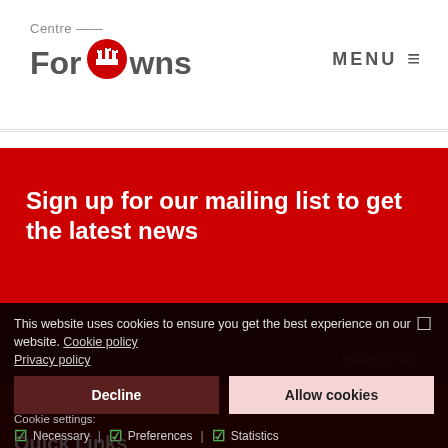[Figure (logo): Centre For Towns logo with red location pin icon containing a castle silhouette]
MENU ≡
Sign up for our mailing list to get the latest news
This website uses cookies to ensure you get the best experience on our website. Cookie policy Privacy policy
Subscribe
Decline
Allow cookies
Cookie settings:
☑ Necessary | ☑ Preferences | ☑ Statistics
Quick Links